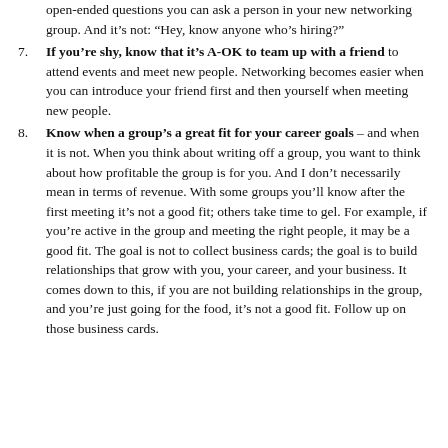Know how to start a conversation: Develop effective open-ended questions you can ask a person in your new networking group. And it's not: "Hey, know anyone who's hiring?"
If you're shy, know that it's A-OK to team up with a friend to attend events and meet new people. Networking becomes easier when you can introduce your friend first and then yourself when meeting new people.
Know when a group's a great fit for your career goals – and when it is not. When you think about writing off a group, you want to think about how profitable the group is for you. And I don't necessarily mean in terms of revenue. With some groups you'll know after the first meeting it's not a good fit; others take time to gel. For example, if you're active in the group and meeting the right people, it may be a good fit. The goal is not to collect business cards; the goal is to build relationships that grow with you, your career, and your business. It comes down to this, if you are not building relationships in the group, and you're just going for the food, it's not a good fit. Follow up on those business cards.